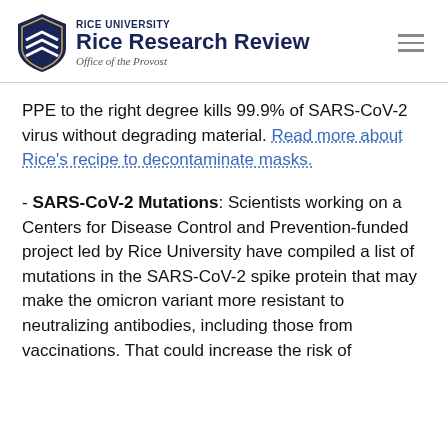RICE UNIVERSITY Rice Research Review Office of the Provost
PPE to the right degree kills 99.9% of SARS-CoV-2 virus without degrading material. Read more about Rice's recipe to decontaminate masks.
- SARS-CoV-2 Mutations: Scientists working on a Centers for Disease Control and Prevention-funded project led by Rice University have compiled a list of mutations in the SARS-CoV-2 spike protein that may make the omicron variant more resistant to neutralizing antibodies, including those from vaccinations. That could increase the risk of